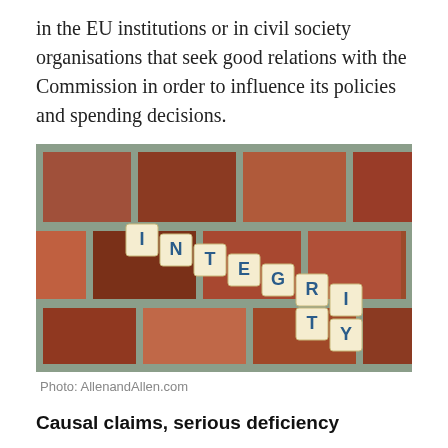in the EU institutions or in civil society organisations that seek good relations with the Commission in order to influence its policies and spending decisions.
[Figure (photo): Scrabble tiles spelling the word INTEGRITY arranged in a diagonal staircase pattern on a red brick surface. Photo credit: AllenandAllen.com]
Photo: AllenandAllen.com
Causal claims, serious deficiency
Given the implications for the moral issues of truth and